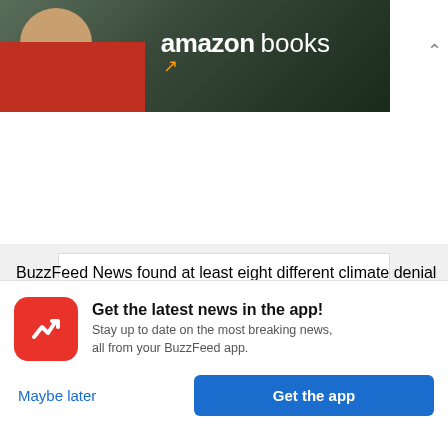[Figure (photo): Amazon Books advertisement banner with a man and the Amazon Books logo on dark background]
[Figure (screenshot): Gray section with a white inner box containing a dark 'Learn more' button]
BuzzFeed News found at least eight different climate denial sites promoted on Discover. Among them were leading climate change denial blog Watts Up With That? and the Global Warming Policy
[Figure (logo): BuzzFeed app icon - red circle with white trending arrow]
Get the latest news in the app! Stay up to date on the most breaking news, all from your BuzzFeed app.
Maybe later
Get the app